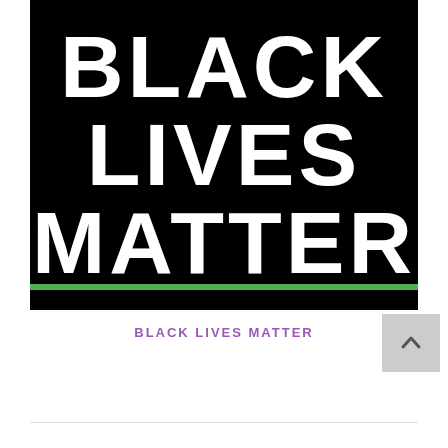[Figure (illustration): Black background image with large white bold text reading BLACK LIVES MATTER stacked vertically. A green horizontal line separates the text area from a narrow black bar at the bottom.]
BLACK LIVES MATTER